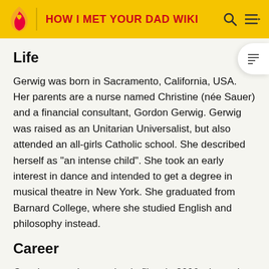HOW I MET YOUR DAD WIKI
Life
Gerwig was born in Sacramento, California, USA. Her parents are a nurse named Christine (née Sauer) and a financial consultant, Gordon Gerwig. Gerwig was raised as an Unitarian Universalist, but also attended an all-girls Catholic school. She described herself as "an intense child". She took an early interest in dance and intended to get a degree in musical theatre in New York. She graduated from Barnard College, where she studied English and philosophy instead.
Career
Gerwig started appearing in films in 2006 where she got